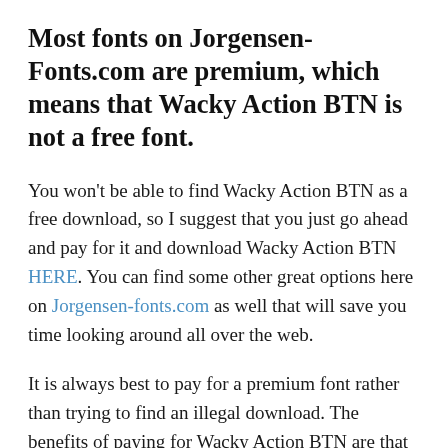Most fonts on Jorgensen-Fonts.com are premium, which means that Wacky Action BTN is not a free font.
You won't be able to find Wacky Action BTN as a free download, so I suggest that you just go ahead and pay for it and download Wacky Action BTN HERE. You can find some other great options here on Jorgensen-fonts.com as well that will save you time looking around all over the web.
It is always best to pay for a premium font rather than trying to find an illegal download. The benefits of paying for Wacky Action BTN are that you get the license, and if you're caught using it illegally there could be some potential legal implications with the publisher of this particular typeface.